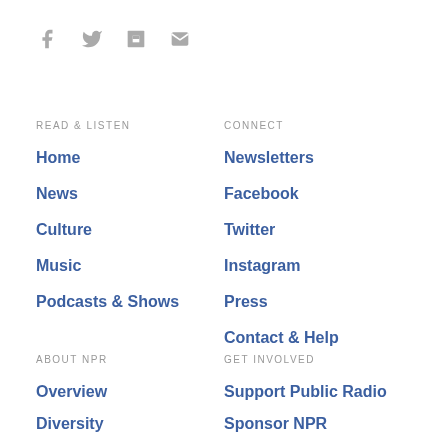[Figure (other): Social media icons: Facebook, Twitter, Flipboard, Email]
READ & LISTEN
Home
News
Culture
Music
Podcasts & Shows
CONNECT
Newsletters
Facebook
Twitter
Instagram
Press
Contact & Help
ABOUT NPR
Overview
Diversity
GET INVOLVED
Support Public Radio
Sponsor NPR